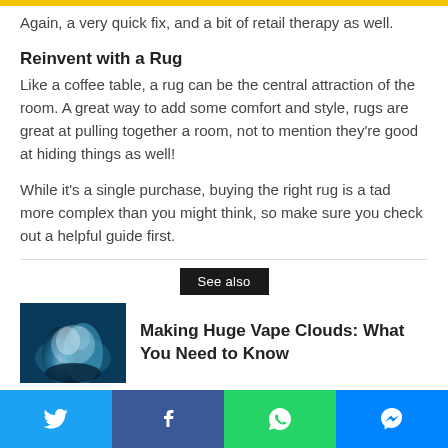Again, a very quick fix, and a bit of retail therapy as well.
Reinvent with a Rug
Like a coffee table, a rug can be the central attraction of the room. A great way to add some comfort and style, rugs are great at pulling together a room, not to mention they're good at hiding things as well!
While it's a single purchase, buying the right rug is a tad more complex than you might think, so make sure you check out a helpful guide first.
See also
[Figure (photo): Dark moody photo of large vape clouds/smoke against a dark teal background]
Making Huge Vape Clouds: What You Need to Know
[Figure (other): Twitter share button]
[Figure (other): Facebook share button]
[Figure (other): WhatsApp share button]
[Figure (other): Messenger share button]